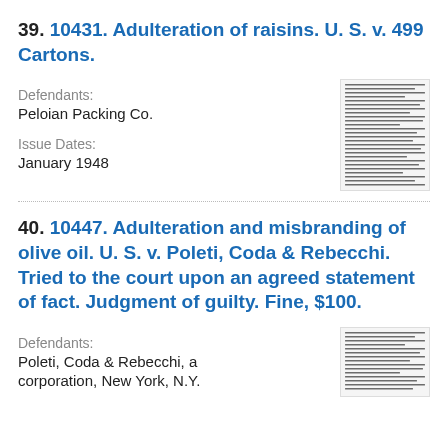39. 10431. Adulteration of raisins. U. S. v. 499 Cartons.
Defendants:
Peloian Packing Co.
Issue Dates:
January 1948
[Figure (other): Thumbnail image of a legal document page]
40. 10447. Adulteration and misbranding of olive oil. U. S. v. Poleti, Coda & Rebecchi. Tried to the court upon an agreed statement of fact. Judgment of guilty. Fine, $100.
Defendants:
Poleti, Coda & Rebecchi, a
corporation, New York, N.Y.
[Figure (other): Thumbnail image of a legal document page]